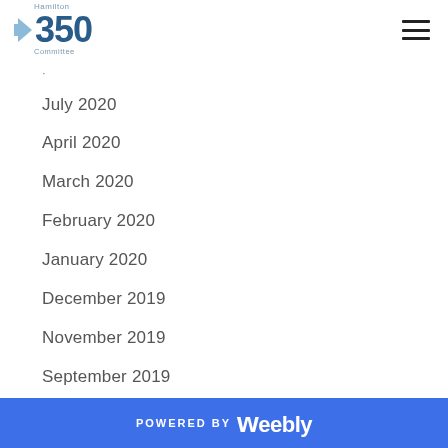Hamilton 350 Committee
July 2020
April 2020
March 2020
February 2020
January 2020
December 2019
November 2019
September 2019
May 2019
April 2019
January 2019
December 2018
POWERED BY weebly